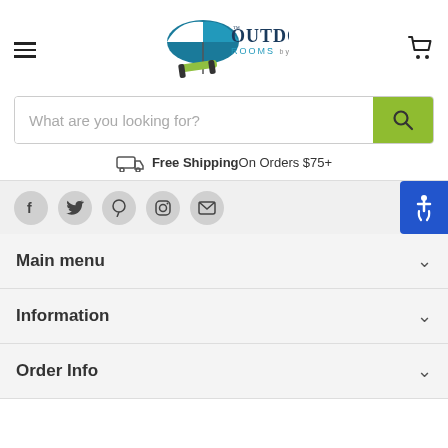[Figure (logo): Outdoor Rooms by Design logo with umbrella and lounge chair]
What are you looking for?
Free ShippingOn Orders $75+
[Figure (infographic): Social media icons: Facebook, Twitter, Pinterest, Instagram, Email and accessibility button]
Main menu
Information
Order Info